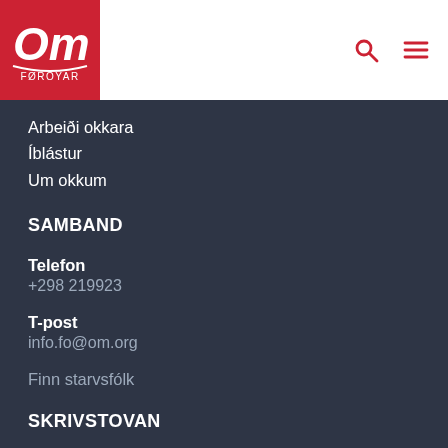[Figure (logo): OM Føroyar logo — white stylized OM letters on red background with 'FØROYAR' text below]
Arbeiði okkara
Íblástur
Um okkum
SAMBAND
Telefon
+298 219923
T-post
info.fo@om.org
Finn starvsfólk
SKRIVSTOVAN